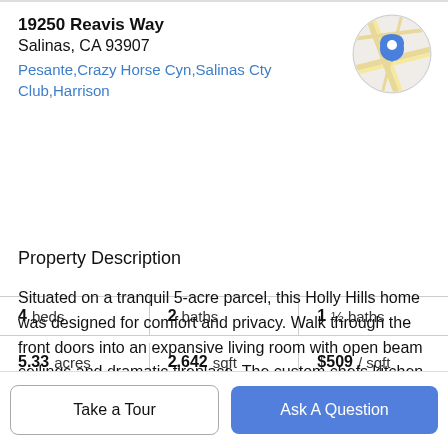19250 Reavis Way
Salinas, CA 93907
Pesante,Crazy Horse Cyn,Salinas Cty Club,Harrison
[Figure (map): Circular map thumbnail showing street map with blue location pin marker]
| beds | baths | ½ baths |
| --- | --- | --- |
| 4 beds | 2 baths | 1 ½ baths |
| 5.33 acres | 2,642 sqft | $509 / sqft |
Property Description
Situated on a tranquil 5-acre parcel, this Holly Hills home was designed for comfort and privacy. Walk through the front doors into an expansive living room with open beam ceilings and dramatic fireplace. The custom chefs kitchen features top-of-the-line appliances, island with gas
Take a Tour
Ask A Question